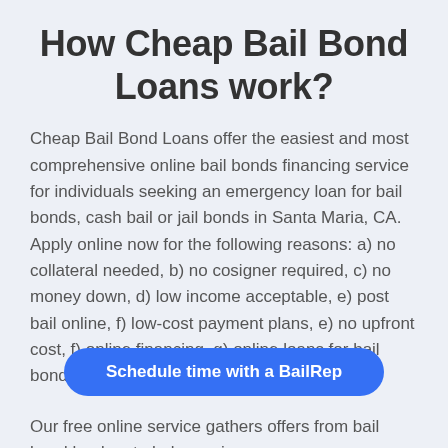How Cheap Bail Bond Loans work?
Cheap Bail Bond Loans offer the easiest and most comprehensive online bail bonds financing service for individuals seeking an emergency loan for bail bonds, cash bail or jail bonds in Santa Maria, CA. Apply online now for the following reasons: a) no collateral needed, b) no cosigner required, c) no money down, d) low income acceptable, e) post bail online, f) low-cost payment plans, e) no upfront cost, f) online financing, g) online loans for bail bonds, and h) pay bail online.
Our free online service gathers offers from bail bond lenders to help you ins for bail options and secure the best terms, all without
[Figure (other): Blue rounded rectangle button with text: Schedule time with a BailRep]